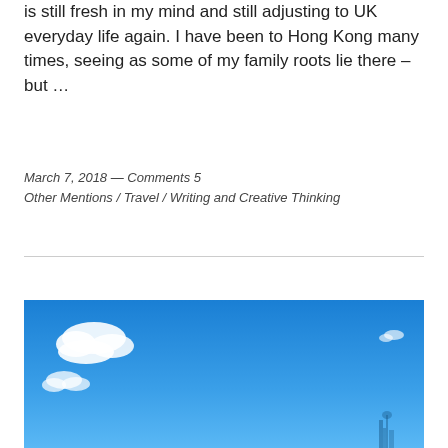is still fresh in my mind and still adjusting to UK everyday life again. I have been to Hong Kong many times, seeing as some of my family roots lie there – but …
March 7, 2018 — Comments 5
Other Mentions / Travel / Writing and Creative Thinking
[Figure (photo): Blue sky with white clouds and a faint cityscape or structure visible at the bottom right corner.]